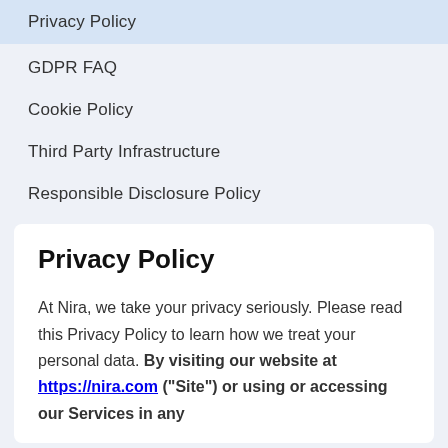Privacy Policy
GDPR FAQ
Cookie Policy
Third Party Infrastructure
Responsible Disclosure Policy
Privacy Policy
At Nira, we take your privacy seriously. Please read this Privacy Policy to learn how we treat your personal data. By visiting our website at https://nira.com ("Site") or using or accessing our Services in any